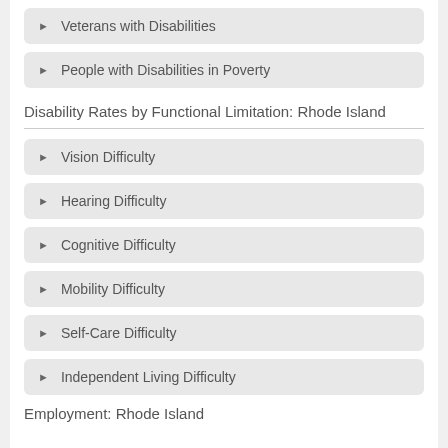Veterans with Disabilities
People with Disabilities in Poverty
Disability Rates by Functional Limitation: Rhode Island
Vision Difficulty
Hearing Difficulty
Cognitive Difficulty
Mobility Difficulty
Self-Care Difficulty
Independent Living Difficulty
Employment: Rhode Island